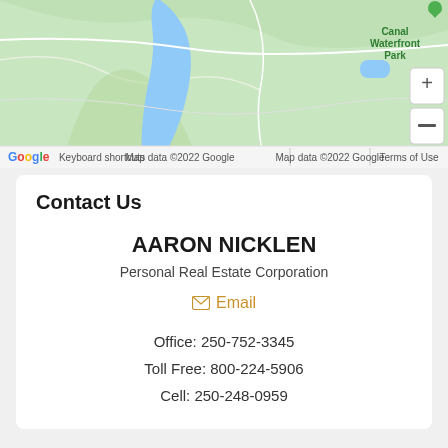[Figure (map): Google Maps screenshot showing Canal Waterfront Park area with water body, green terrain, zoom controls (+/-), and map attribution footer]
Contact Us
AARON NICKLEN
Personal Real Estate Corporation
Email
Office: 250-752-3345
Toll Free: 800-224-5906
Cell: 250-248-0959